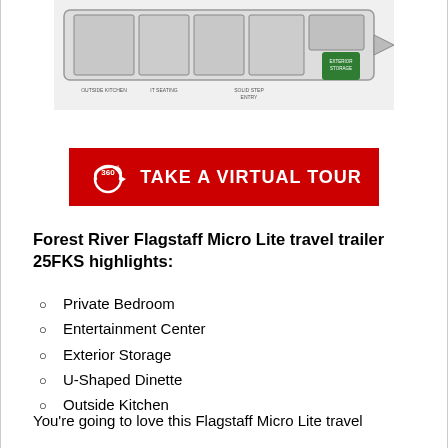[Figure (schematic): Floor plan schematic of Forest River Flagstaff Micro Lite 25FKS travel trailer showing outside kitchen, IT seating, solid step entry, exterior storage labels]
[Figure (other): Red button banner reading '360° TAKE A VIRTUAL TOUR' with a 360-degree icon]
Forest River Flagstaff Micro Lite travel trailer 25FKS highlights:
Private Bedroom
Entertainment Center
Exterior Storage
U-Shaped Dinette
Outside Kitchen
You're going to love this Flagstaff Micro Lite travel